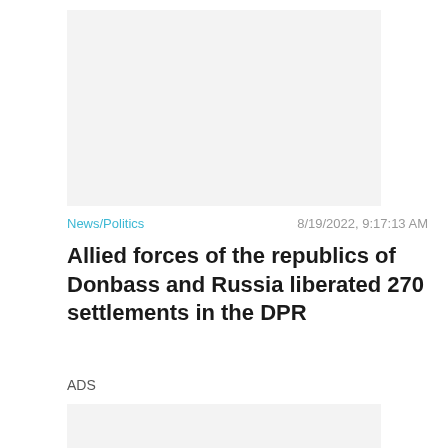[Figure (other): Image placeholder area with light gray background]
News/Politics   8/19/2022, 9:17:13 AM
Allied forces of the republics of Donbass and Russia liberated 270 settlements in the DPR
ADS
[Figure (other): Advertisement placeholder area with light gray background]